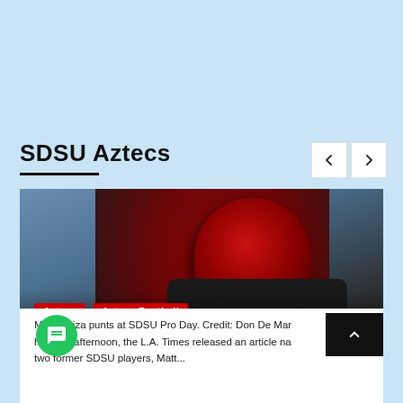SDSU Aztecs
[Figure (photo): Football player in SDSU Aztecs red and black uniform and helmet, number 2, at SDSU Pro Day]
Aztecs  Aztecs Football
Names of SDSU players accused of rape revealed
2 days ago  Paul Garrison
Matt Araiza punts at SDSU Pro Day. Credit: Don De Mar
hursday afternoon, the L.A. Times released an article na two former SDSU players, Matt...